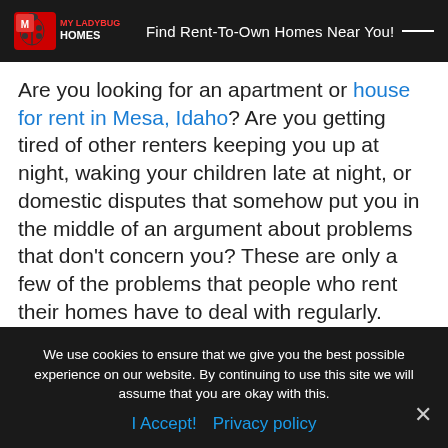MY LADYBUG HOMES — Find Rent-To-Own Homes Near You!
Are you looking for an apartment or house for rent in Mesa, Idaho? Are you getting tired of other renters keeping you up at night, waking your children late at night, or domestic disputes that somehow put you in the middle of an argument about problems that don't concern you? These are only a few of the problems that people who rent their homes have to deal with regularly.
The good news is that there's a better way! Rent-to-Own homes in Mesa ID are harder to find, but worth it for those who don't want other people living above
We use cookies to ensure that we give you the best possible experience on our website. By continuing to use this site we will assume that you are okay with this.
I Accept!  Privacy policy